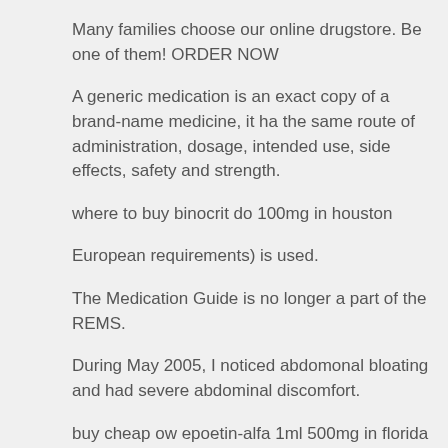Many families choose our online drugstore. Be one of them! ORDER NOW
A generic medication is an exact copy of a brand-name medicine, it has the same route of administration, dosage, intended use, side effects, safety and strength.
where to buy binocrit do 100mg in houston
European requirements) is used.
The Medication Guide is no longer a part of the REMS.
During May 2005, I noticed abdomonal bloating and had severe abdominal discomfort.
buy cheap ow epoetin-alfa 1ml 500mg in florida
purchase neorecormon medicine anemia department no script neede
Cadaver kidney transplants have a 50% chance of functioning nine years and living donor kidneys that have two matching antigen pairs have a